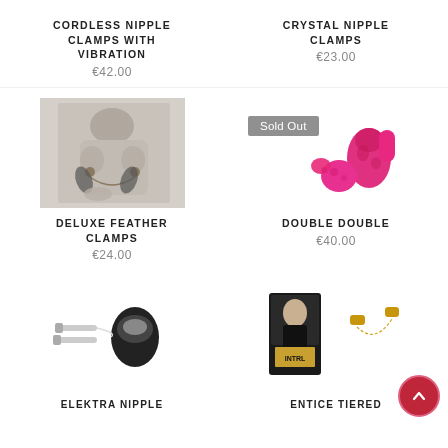CORDLESS NIPPLE CLAMPS WITH VIBRATION
€42.00
CRYSTAL NIPPLE CLAMPS
€23.00
[Figure (photo): Black and white photo of model wearing feather nipple clamps]
DELUXE FEATHER CLAMPS
€24.00
[Figure (photo): Pink vibrating nipple clamps product photo with Sold Out badge]
DOUBLE DOUBLE
€40.00
[Figure (photo): Elektra nipple clamp product with silver remote control]
ELEKTRA NIPPLE
[Figure (photo): Entice Tiered nipple clamps in retail packaging with chain]
ENTICE TIERED